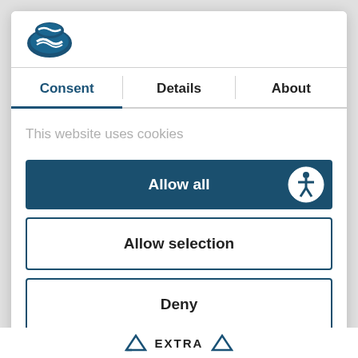[Figure (logo): Cookiebot shield logo in teal/dark blue]
Consent | Details | About
This website uses cookies
Allow all
Allow selection
Deny
Powered by Cookiebot by Usercentrics